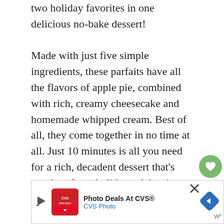two holiday favorites in one delicious no-bake dessert!
Made with just five simple ingredients, these parfaits have all the flavors of apple pie, combined with rich, creamy cheesecake and homemade whipped cream. Best of all, they come together in no time at all. Just 10 minutes is all you need for a rich, decadent dessert that's worthy of any holiday celebration.
Why choose between cheesecake and pie when you can have both? These Apple C...
[Figure (other): Ad banner for CVS Photo Deals with CVS pharmacy logo, navigation arrow icon, and close/mute buttons]